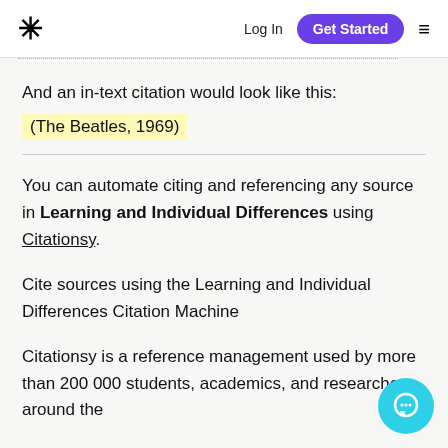* Log In  Get Started  ≡
And an in-text citation would look like this:
(The Beatles, 1969)
You can automate citing and referencing any source in Learning and Individual Differences using Citationsy.
Cite sources using the Learning and Individual Differences Citation Machine
Citationsy is a reference management used by more than 200 000 students, academics, and researchers around the